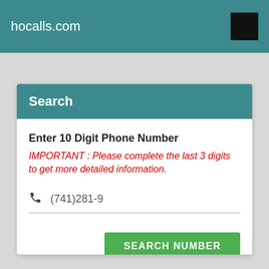hocalls.com
Search
Enter 10 Digit Phone Number
IMPORTANT : Please complete the last 3 digits to get more detailed information.
(741)281-9
SEARCH NUMBER